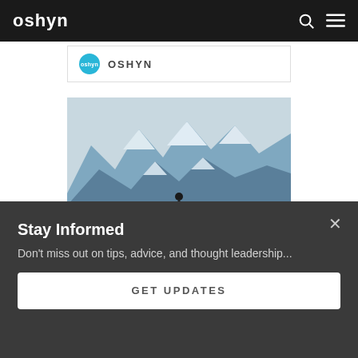oshyn
[Figure (logo): Oshyn teal circular logo badge with 'oshyn' text next to brand name 'OSHYN' in a bordered box]
[Figure (photo): Mountain landscape with snow-capped peaks and a person standing on a fence/railing with arms outstretched, silhouetted against the mountains]
Stay Informed
Don't miss out on tips, advice, and thought leadership...
GET UPDATES